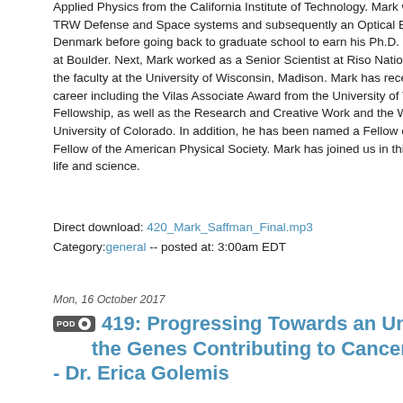Applied Physics from the California Institute of Technology. Mark worked as a Technical [Staff at] TRW Defense and Space systems and subsequently an Optical Engineer at Dantec Ele[ctronics in] Denmark before going back to graduate school to earn his Ph.D. in Physics from the U[niversity of Colorado] at Boulder. Next, Mark worked as a Senior Scientist at Riso National Laboratory in Den[mark, then joined] the faculty at the University of Wisconsin, Madison. Mark has received many honors and [awards over his] career including the Vilas Associate Award from the University of Wisconsin, Madison, a [Guggenheim] Fellowship, as well as the Research and Creative Work and the William Walter Jr. Awar[ds from the] University of Colorado. In addition, he has been named a Fellow of the Optical Society o[f America and a] Fellow of the American Physical Society. Mark has joined us in this interview to talk abou[t his fascinating] life and science.
Direct download: 420_Mark_Saffman_Final.mp3
Category:general -- posted at: 3:00am EDT
Mon, 16 October 2017
419: Progressing Towards an Understanding of the Genes Contributing to Cancer Malignancy - Dr. Erica Golemis
Dr. Erica Golemis is a Professor, Deputy Chief Science Officer, Co-Leader of the Molecular Therapeutics Program, and Director of the High Throughput Facility at the Fox Chase Cancer Center in Philadelphia. In addition, Erica is an adjunct faculty member at the University of Pennsylvania, Drexel University School of Medicine, and the Temple University Lewis Katz School of Medicine. When Erica finds free time, what she loves to do is read. She reads broadly and has been an avid reader since her early childhood. She also has fun attending theatre performances. There are multiple excellent theaters in her hometown of Philadelphia, and she especially enjoys shows by British playwright Tom Stoppard. For...